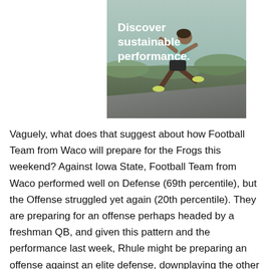[Figure (photo): Advertisement image showing a person running outdoors on a path with grassy terrain in the background. White overlay text reads 'Discover sustainable performance.']
Vaguely, what does that suggest about how Football Team from Waco will prepare for the Frogs this weekend? Against Iowa State, Football Team from Waco performed well on Defense (69th percentile), but the Offense struggled yet again (20th percentile). They are preparing for an offense perhaps headed by a freshman QB, and given this pattern and the performance last week, Rhule might be preparing an offense against an elite defense, downplaying the other side of the ball.